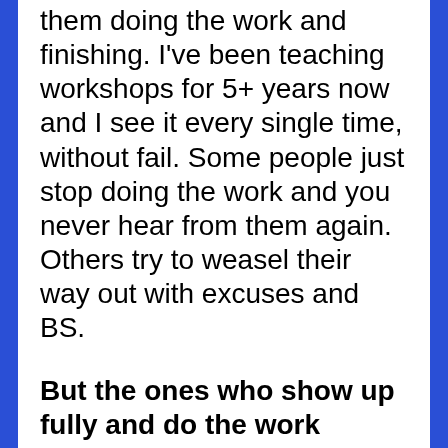them doing the work and finishing. I've been teaching workshops for 5+ years now and I see it every single time, without fail. Some people just stop doing the work and you never hear from them again. Others try to weasel their way out with excuses and BS.
But the ones who show up fully and do the work ALWAYS achieve the results they set out to.
Which is why I've designed my